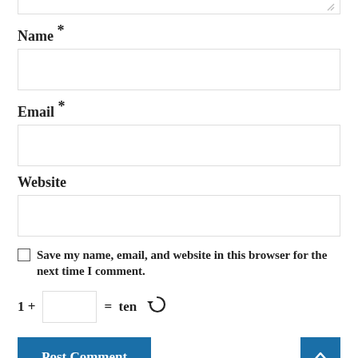Name *
Email *
Website
Save my name, email, and website in this browser for the next time I comment.
1 + [input] = ten [refresh icon]
Post Comment